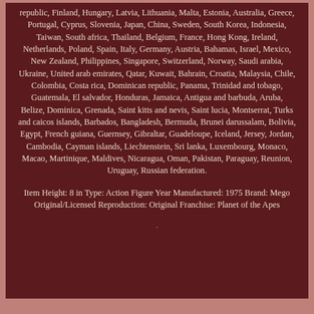republic, Finland, Hungary, Latvia, Lithuania, Malta, Estonia, Australia, Greece, Portugal, Cyprus, Slovenia, Japan, China, Sweden, South Korea, Indonesia, Taiwan, South africa, Thailand, Belgium, France, Hong Kong, Ireland, Netherlands, Poland, Spain, Italy, Germany, Austria, Bahamas, Israel, Mexico, New Zealand, Philippines, Singapore, Switzerland, Norway, Saudi arabia, Ukraine, United arab emirates, Qatar, Kuwait, Bahrain, Croatia, Malaysia, Chile, Colombia, Costa rica, Dominican republic, Panama, Trinidad and tobago, Guatemala, El salvador, Honduras, Jamaica, Antigua and barbuda, Aruba, Belize, Dominica, Grenada, Saint kitts and nevis, Saint lucia, Montserrat, Turks and caicos islands, Barbados, Bangladesh, Bermuda, Brunei darussalam, Bolivia, Egypt, French guiana, Guernsey, Gibraltar, Guadeloupe, Iceland, Jersey, Jordan, Cambodia, Cayman islands, Liechtenstein, Sri lanka, Luxembourg, Monaco, Macao, Martinique, Maldives, Nicaragua, Oman, Pakistan, Paraguay, Reunion, Uruguay, Russian federation.
Item Height: 8 in Type: Action Figure Year Manufactured: 1975 Brand: Mego Original/Licensed Reproduction: Original Franchise: Planet of the Apes